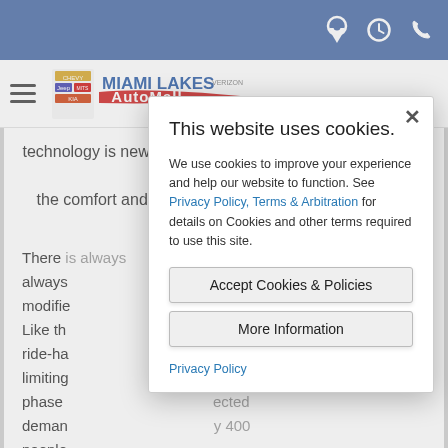Top navigation bar with location, hours, and phone icons
[Figure (logo): Miami Lakes AutoMall logo with Chevrolet, Jeep, Mitsubishi, Kia brand marks]
technology is new to many, so we’re proceeding carefully with the comfort and convenience of our riders in mind.” – John
There [is always [in the modifie[am. Like th[he ride-ha[be limiting[ial phase[ected deman[y 400 people[
This website uses cookies.

We use cookies to improve your experience and help our website to function. See Privacy Policy, Terms & Arbitration for details on Cookies and other terms required to use this site.

Accept Cookies & Policies
More Information

Privacy Policy